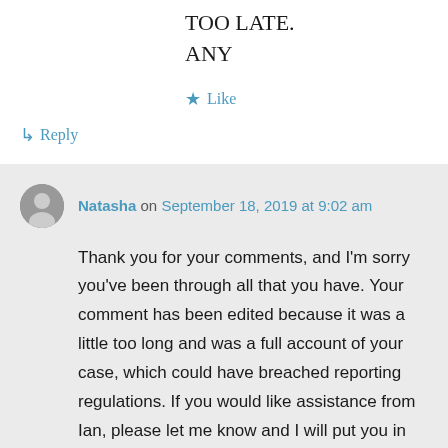TOO LATE.
ANY
★ Like
↳ Reply
Natasha on September 18, 2019 at 9:02 am
Thank you for your comments, and I'm sorry you've been through all that you have. Your comment has been edited because it was a little too long and was a full account of your case, which could have breached reporting regulations. If you would like assistance from Ian, please let me know and I will put you in touch.